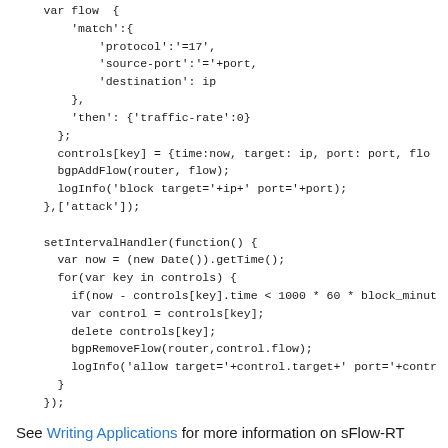var flow  {
    'match':{
        'protocol':'=17',
        'source-port':'='+port,
        'destination': ip
    },
    'then': {'traffic-rate':0}
  };
  controls[key] = {time:now, target: ip, port: port, flow
  bgpAddFlow(router, flow);
  logInfo('block target='+ip+' port='+port);
},['attack']);

setIntervalHandler(function() {
  var now = (new Date()).getTime();
  for(var key in controls) {
    if(now - controls[key].time < 1000 * 60 * block_minut
    var control = controls[key];
    delete controls[key];
    bgpRemoveFlow(router,control.flow);
    logInfo('allow target='+control.target+' port='+contr
  }
});
See Writing Applications for more information on sFlow-RT scripting and APIs.